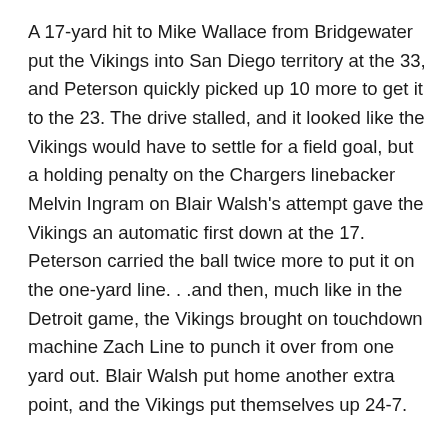A 17-yard hit to Mike Wallace from Bridgewater put the Vikings into San Diego territory at the 33, and Peterson quickly picked up 10 more to get it to the 23. The drive stalled, and it looked like the Vikings would have to settle for a field goal, but a holding penalty on the Chargers linebacker Melvin Ingram on Blair Walsh's attempt gave the Vikings an automatic first down at the 17. Peterson carried the ball twice more to put it on the one-yard line. . .and then, much like in the Detroit game, the Vikings brought on touchdown machine Zach Line to punch it over from one yard out. Blair Walsh put home another extra point, and the Vikings put themselves up 24-7.